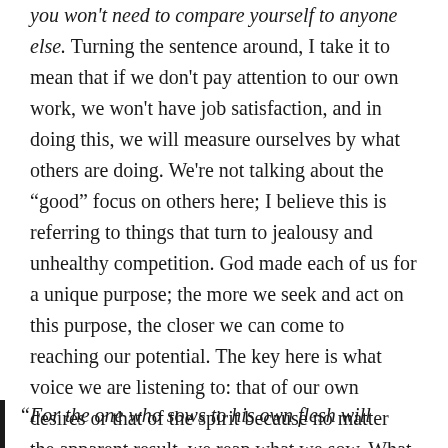you won't need to compare yourself to anyone else. Turning the sentence around, I take it to mean that if we don't pay attention to our own work, we won't have job satisfaction, and in doing this, we will measure ourselves by what others are doing. We're not talking about the “good” focus on others here; I believe this is referring to things that turn to jealousy and unhealthy competition. God made each of us for a unique purpose; the more we seek and act on this purpose, the closer we can come to reaching our potential. The key here is what voice we are listening to: that of our own desires or that of the spirit because no matter the apparent result, we reap what we sow. What we put in is what we get out. Seeking after our own earthly desires yields corruption, seeking the will of the Spirit reaps eternal life.
“For the one who sows to his own flesh will